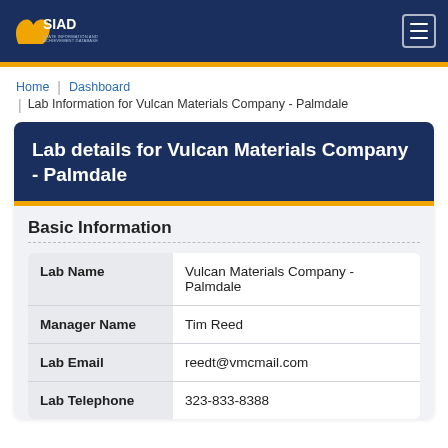SIAD (navigation bar with logo and menu button)
Home | Dashboard
Lab Information for Vulcan Materials Company - Palmdale
Lab details for Vulcan Materials Company - Palmdale
Basic Information
| Field | Value |
| --- | --- |
| Lab Name | Vulcan Materials Company - Palmdale |
| Manager Name | Tim Reed |
| Lab Email | reedt@vmcmail.com |
| Lab Telephone | 323-833-8388 |